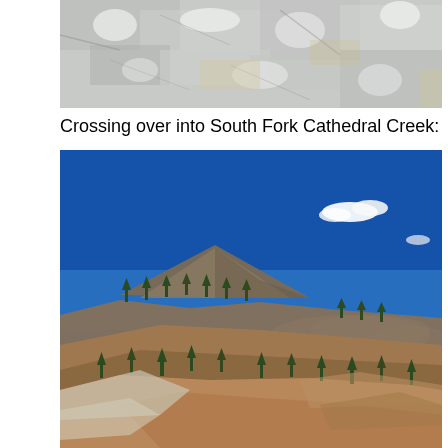[Figure (photo): Close-up photo of light grey/white rocky surface with crystalline mineral texture, cropped at top of page]
Crossing over into South Fork Cathedral Creek:
[Figure (photo): Landscape photo showing a rugged mountain ridge with sparse pine trees against a deep blue sky with a few white clouds. Rocky brown hillsides dominate the foreground with distant mountains visible on the horizon.]